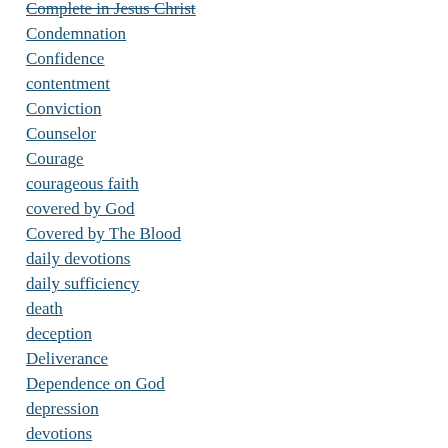Complete in Jesus Christ
Condemnation
Confidence
contentment
Conviction
Counselor
Courage
courageous faith
covered by God
Covered by The Blood
daily devotions
daily sufficiency
death
deception
Deliverance
Dependence on God
depression
devotions
disappointment